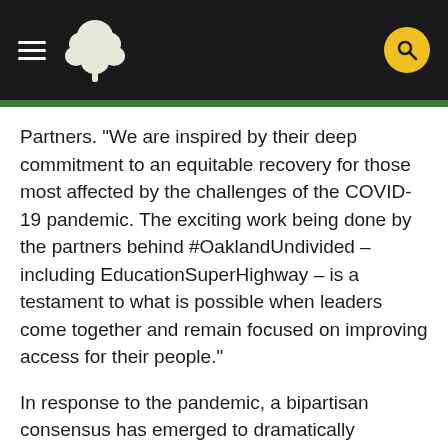Header with hamburger menu, tree logo, and search button
Partners. "We are inspired by their deep commitment to an equitable recovery for those most affected by the challenges of the COVID-19 pandemic. The exciting work being done by the partners behind #OaklandUndivided – including EducationSuperHighway – is a testament to what is possible when leaders come together and remain focused on improving access for their people."
In response to the pandemic, a bipartisan consensus has emerged to dramatically accelerate progress towards closing the digital divide. The state and federal